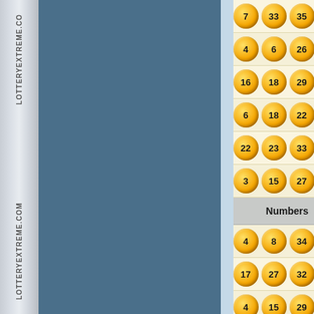[Figure (screenshot): Lottery numbers display from LotteryExtreme.com showing rows of golden lottery balls with numbers]
LOTTERYEXTREME.COM (watermark, repeated twice)
| Numbers |
| --- |
| 7 | 33 | 35 |
| 4 | 6 | 26 |
| 16 | 18 | 29 |
| 6 | 18 | 22 |
| 22 | 23 | 33 |
| 3 | 15 | 27 |
| Numbers |
| 4 | 8 | 34 |
| 17 | 27 | 32 |
| 4 | 15 | 29 |
| 9 | 10 | 14 |